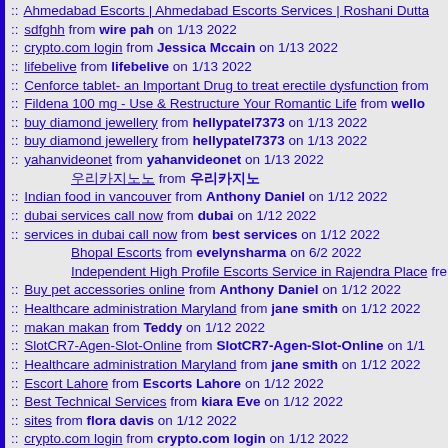:: Ahmedabad Escorts | Ahmedabad Escorts Services | Roshani Dutta
:: sdfghh from wire pah on 1/13 2022
:: crypto.com login from Jessica Mccain on 1/13 2022
:: lifebelive from lifebelive on 1/13 2022
:: Cenforce tablet- an Important Drug to treat erectile dysfunction from
:: Fildena 100 mg - Use & Restructure Your Romantic Life from wello
:: buy diamond jewellery from hellypatel7373 on 1/13 2022
:: buy diamond jewellery from hellypatel7373 on 1/13 2022
:: yahanvideonet from yahanvideonet on 1/13 2022
&#50864;&#47532;&#52852;&#51648;&#45432; from &#50864;
:: Indian food in vancouver from Anthony Daniel on 1/12 2022
:: dubai services call now from dubai on 1/12 2022
:: services in dubai call now from best services on 1/12 2022
Bhopal Escorts from evelynsharma on 6/2 2022
Independent High Profile Escorts Service in Rajendra Place fre
:: Buy pet accessories online from Anthony Daniel on 1/12 2022
:: Healthcare administration Maryland from jane smith on 1/12 2022
:: makan makan from Teddy on 1/12 2022
:: SlotCR7-Agen-Slot-Online from SlotCR7-Agen-Slot-Online on 1/1
:: Healthcare administration Maryland from jane smith on 1/12 2022
:: Escort Lahore from Escorts Lahore on 1/12 2022
:: Best Technical Services from kiara Eve on 1/12 2022
:: sites from flora davis on 1/12 2022
:: crypto.com login from crypto.com login on 1/12 2022
:: Escort Service from Jaipur Escort on 1/12 2022
:: Vilitra 40mg Online On Discount 26% ||Welloxpharma.Com from we
:: Tadarise 40 (Tadalafil) For ED Treatment from buymygenerix on 1
:: Tadarise Affordable ED Treatment For Male from buymygenerix on
:: Buy Malegra 200 And Get 20% Off from buymygenerix on 1/12 20
Buy Cenforce 200 Mg (Sildenafil Citrate) |Best Erectile Dysfuno